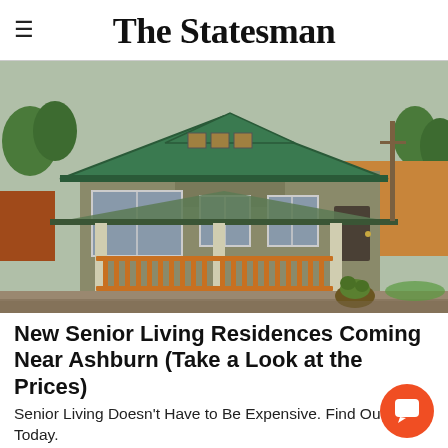The Statesman
[Figure (photo): Exterior photo of a small single-story house with green metal roof, wooden front porch with orange/wood railing, beige siding, and multiple windows. A covered porch with columns is visible. Landscaping with gravel and a potted plant are in front.]
New Senior Living Residences Coming Near Ashburn (Take a Look at the Prices)
Senior Living Doesn't Have to Be Expensive. Find Out More Today.
Senior Living | Search Ads | Sponsored